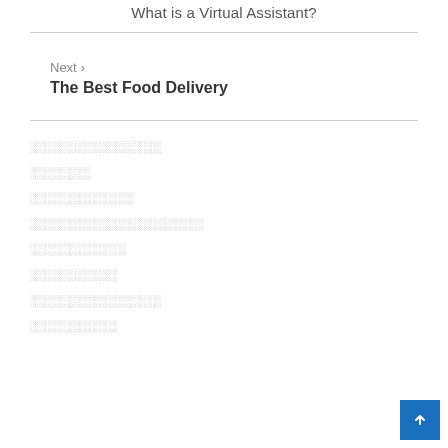What is a Virtual Assistant?
Next > The Best Food Delivery
░░░░░░░░░░░░░░░
░░░░░░░
░░░░░░░░░░░░
░░░░░░░░░░░░░░░░░░░░
░░░░░░░░░░░
░░░░░░░░░░
░░░░░░░░░░░░░░░
░░░░░░░░░░